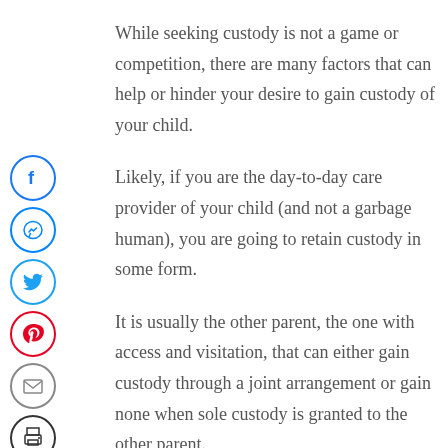[Figure (infographic): Vertical stack of social media share icons: Facebook (blue circle with f), Messenger (blue circle with chat icon), Twitter (blue circle with bird), Pinterest (red circle with P), Email (gray circle with envelope), Print (dark circle with printer)]
While seeking custody is not a game or competition, there are many factors that can help or hinder your desire to gain custody of your child.
Likely, if you are the day-to-day care provider of your child (and not a garbage human), you are going to retain custody in some form.
It is usually the other parent, the one with access and visitation, that can either gain custody through a joint arrangement or gain none when sole custody is granted to the other parent.